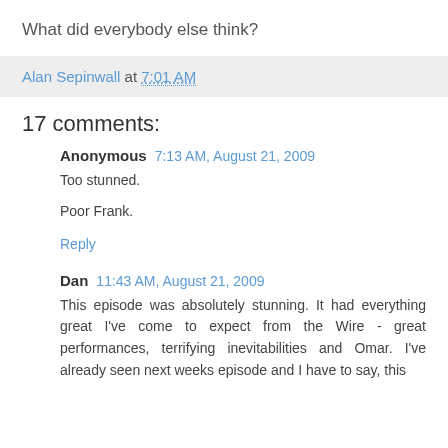What did everybody else think?
Alan Sepinwall at 7:01 AM
17 comments:
Anonymous  7:13 AM, August 21, 2009
Too stunned.

Poor Frank.
Reply
Dan  11:43 AM, August 21, 2009
This episode was absolutely stunning. It had everything great I've come to expect from the Wire - great performances, terrifying inevitabilities and Omar. I've already seen next weeks episode and I have to say, this